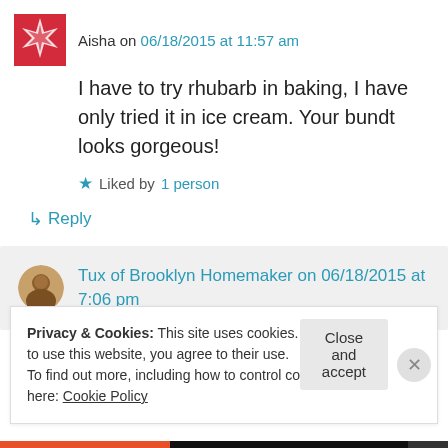Aisha on 06/18/2015 at 11:57 am
I have to try rhubarb in baking, I have only tried it in ice cream. Your bundt looks gorgeous!
★ Liked by 1 person
↳ Reply
Tux of Brooklyn Homemaker on 06/18/2015 at 7:06 pm
Privacy & Cookies: This site uses cookies. By continuing to use this website, you agree to their use.
To find out more, including how to control cookies, see here: Cookie Policy